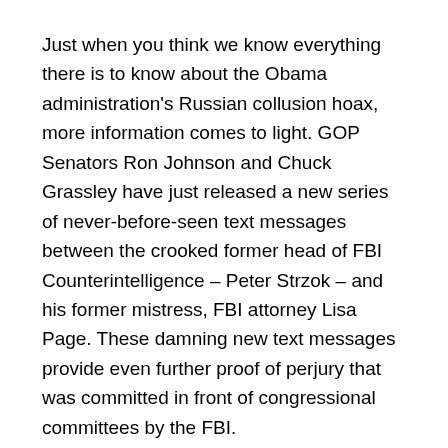Just when you think we know everything there is to know about the Obama administration's Russian collusion hoax, more information comes to light. GOP Senators Ron Johnson and Chuck Grassley have just released a new series of never-before-seen text messages between the crooked former head of FBI Counterintelligence – Peter Strzok – and his former mistress, FBI attorney Lisa Page. These damning new text messages provide even further proof of perjury that was committed in front of congressional committees by the FBI.
Just a couple of weeks ago, handwritten notes from former CIA Director John Brennan were declassified. In those notes, we learned that the CIA was well aware that the Russians were feeding disinformation and lies to the 2016 Hillary Clinton campaign. The CIA isn't supposed to conduct any counterintelligence activities on US soil, so Brennan sent a